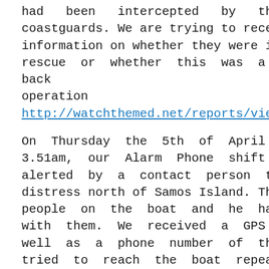had been intercepted by the Turkish coastguards. We are trying to receive more information on whether they were in need or rescue or whether this was a pull-back operation (see: http://watchthemed.net/reports/view/834).
On Thursday the 5th of April 2018, at 3.51am, our Alarm Phone shift team was alerted by a contact person to a boat in distress north of Samos Island. There were 36 people on the boat and he had lost contact with them. We received a GPS position as well as a phone number of the travellers. We tried to reach the boat repeatedly, without success. Only at 11.10am were we able to receive the information from the Greek coastguards that the boat had been located by the Turkish coastguards and returned to Turkey. However, about an hour later, our